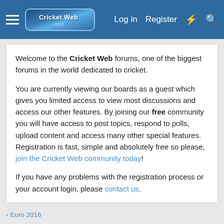Cricket Web — Log in | Register
Welcome to the Cricket Web forums, one of the biggest forums in the world dedicated to cricket.

You are currently viewing our boards as a guest which gives you limited access to view most discussions and access our other features. By joining our free community you will have access to post topics, respond to polls, upload content and access many other special features. Registration is fast, simple and absolutely free so please, join the Cricket Web community today!

If you have any problems with the registration process or your account login, please contact us.
< Euro 2016
*Official* Round of 16 thread
GIMH · Jun 22, 2016